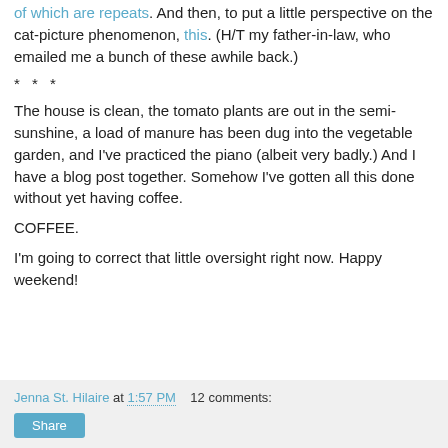of which are repeats. And then, to put a little perspective on the cat-picture phenomenon, this. (H/T my father-in-law, who emailed me a bunch of these awhile back.)
* * *
The house is clean, the tomato plants are out in the semi-sunshine, a load of manure has been dug into the vegetable garden, and I've practiced the piano (albeit very badly.) And I have a blog post together. Somehow I've gotten all this done without yet having coffee.
COFFEE.
I'm going to correct that little oversight right now. Happy weekend!
Jenna St. Hilaire at 1:57 PM   12 comments:  Share